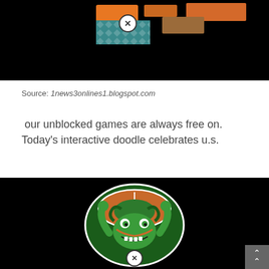[Figure (screenshot): Dark background game interface screenshot showing colorful game tiles with orange, teal, and brown colors, and a close (X) button circle overlay]
Source: 1news3onlines1.blogspot.com
our unblocked games are always free on. Today's interactive doodle celebrates u.s.
[Figure (illustration): Dark background image showing a cartoon green frog mascot wearing a football helmet, holding a football up, styled as a sports team logo. Close (X) button visible at bottom. Partially cut off text banner at bottom.]